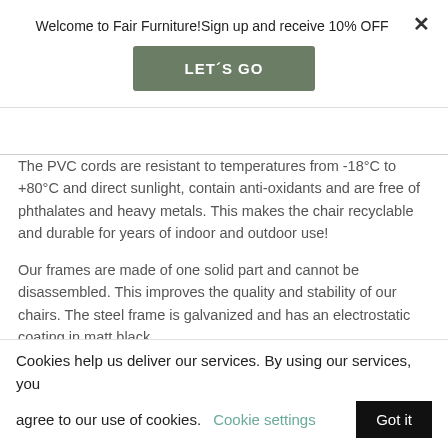Welcome to Fair Furniture!Sign up and receive 10% OFF
LET´S GO
The PVC cords are resistant to temperatures from -18°C to +80°C and direct sunlight, contain anti-oxidants and are free of phthalates and heavy metals. This makes the chair recyclable and durable for years of indoor and outdoor use!
Our frames are made of one solid part and cannot be disassembled. This improves the quality and stability of our chairs. The steel frame is galvanized and has an electrostatic coating in matt black.
Maintenance:
The chairs are suitable for years of use both indoors and outdoors without any special maintenance. Clean your chair
Cookies help us deliver our services. By using our services, you agree to our use of cookies. Cookie settings Got it